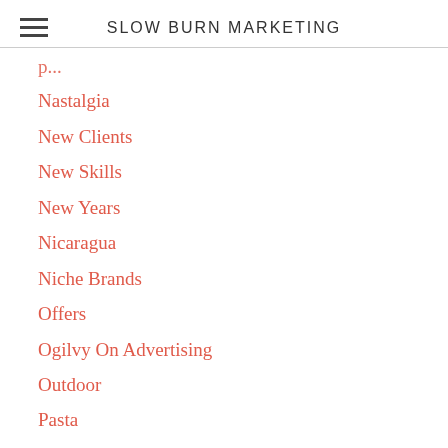SLOW BURN MARKETING
Nastalgia
New Clients
New Skills
New Years
Nicaragua
Niche Brands
Offers
Ogilvy On Advertising
Outdoor
Pasta
Patriotism
Pen & Paper
Personal Brand
Pizza
Podcasts
Poetry
Point Of Purchase